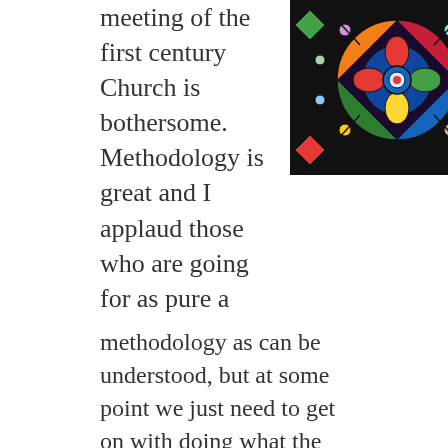meeting of the first century Church is bothersome. Methodology is great and I applaud those who are going for as pure a methodology as can be understood, but at some point we just need to get on with doing what the Lord commanded: making disciples. If every couple years we rip down the idea of what constitutes a “true” church meeting, then we are only forcing our churches through ever-finer strainers. Who or what comes out of that in one piece is debatable.
[Figure (photo): Colorful stained glass window with intricate geometric and figurative patterns in blue, red, yellow, and green.]
Perhaps we are asking too much of people. In the midst of a resurgence in house churches, this is an acid test that few can withstand.